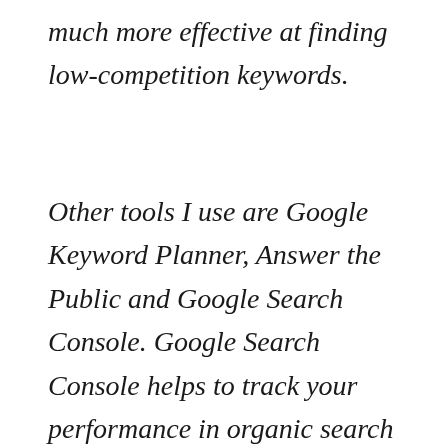much more effective at finding low-competition keywords.
Other tools I use are Google Keyword Planner, Answer the Public and Google Search Console. Google Search Console helps to track your performance in organic search and shows a lot of data about the